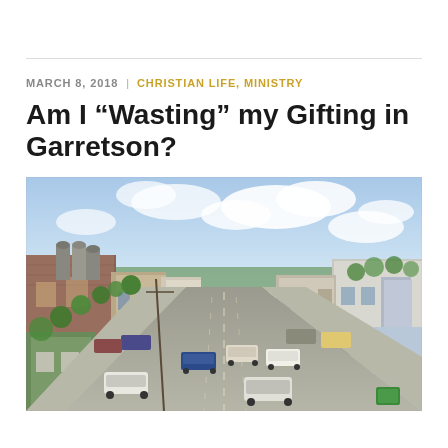MARCH 8, 2018  |  CHRISTIAN LIFE, MINISTRY
Am I “Wasting” my Gifting in Garretson?
[Figure (photo): Aerial view of a small town main street (Garretson) with brick buildings on both sides, cars parked and driving, grain silos visible in the background, green trees and cloudy sky.]